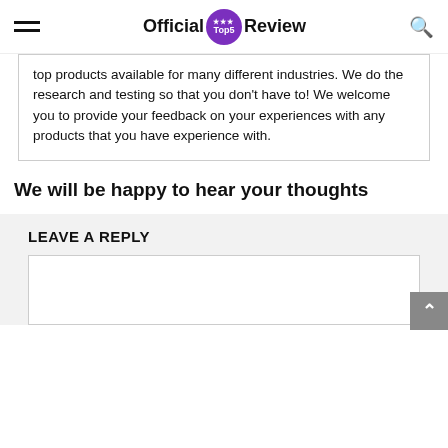Official Top5 Review
top products available for many different industries. We do the research and testing so that you don't have to! We welcome you to provide your feedback on your experiences with any products that you have experience with.
We will be happy to hear your thoughts
LEAVE A REPLY